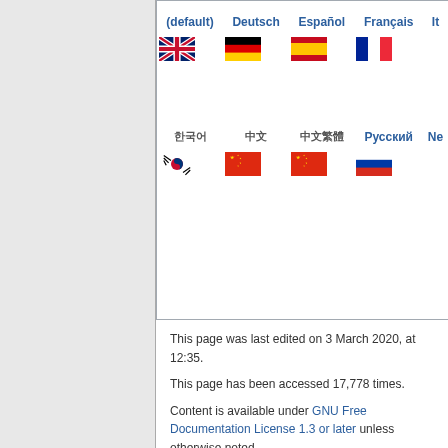[Figure (screenshot): Language selection grid showing (default), Deutsch, Español, Français, It[alian] in top row with flags (UK, German, Spanish, French), and 한국어, 中文, 中文繁體, Русский, Ne[derlands] in second row with flags (South Korea, China, China, Russia)]
This page was last edited on 3 March 2020, at 12:35.
This page has been accessed 17,778 times.
Content is available under GNU Free Documentation License 1.3 or later unless otherwise noted.
Privacy policy   About SOCR   Disclaimers
[Figure (logo): GNU FDL Free Doc License badge]
[Figure (logo): Powered by MediaWiki badge]